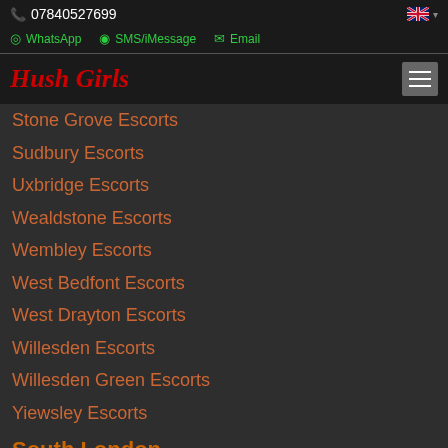07840527699
WhatsApp  SMS/iMessage  Email
Hush Girls
Stone Grove Escorts
Sudbury Escorts
Uxbridge Escorts
Wealdstone Escorts
Wembley Escorts
West Bedfont Escorts
West Drayton Escorts
Willesden Escorts
Willesden Green Escorts
Yiewsley Escorts
South London